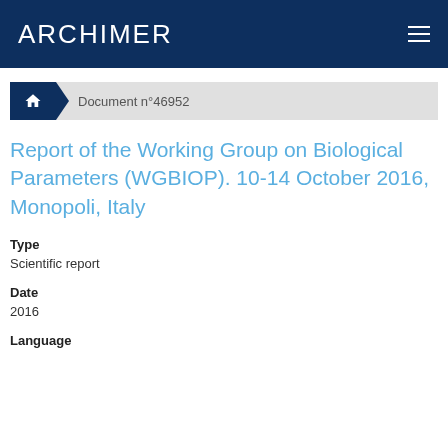ARCHIMER
Document n°46952
Report of the Working Group on Biological Parameters (WGBIOP). 10-14 October 2016, Monopoli, Italy
Type
Scientific report
Date
2016
Language